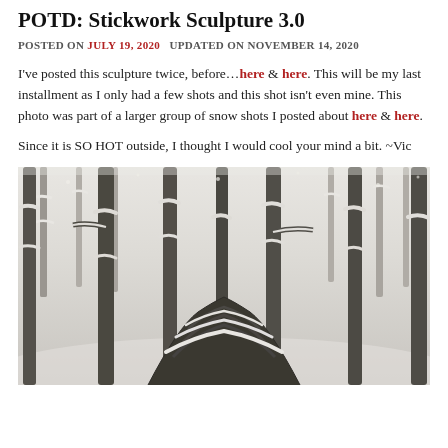POTD: Stickwork Sculpture 3.0
POSTED ON JULY 19, 2020   UPDATED ON NOVEMBER 14, 2020
I've posted this sculpture twice, before…here & here. This will be my last installment as I only had a few shots and this shot isn't even mine. This photo was part of a larger group of snow shots I posted about here & here.
Since it is SO HOT outside, I thought I would cool your mind a bit. ~Vic
[Figure (photo): A snowy winter forest scene showing a stickwork sculpture (an artistic structure made from woven branches) covered in snow, surrounded by snow-covered bare trees.]